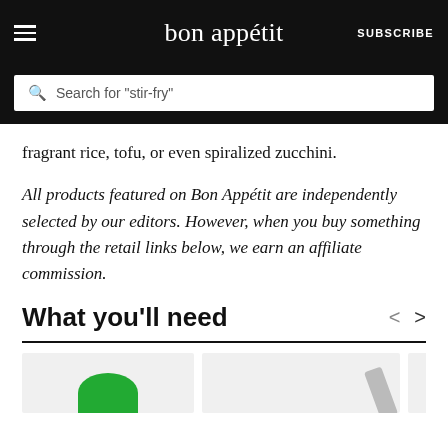bon appétit | SUBSCRIBE
fragrant rice, tofu, or even spiralized zucchini.
All products featured on Bon Appétit are independently selected by our editors. However, when you buy something through the retail links below, we earn an affiliate commission.
What you'll need
[Figure (photo): Product images partially visible at the bottom of the page]